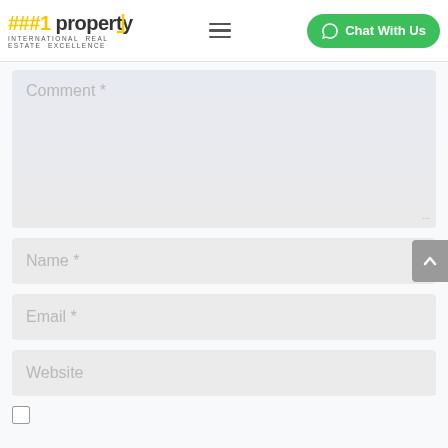###1 property INTERNATIONAL REAL ESTATE EXCELLENCE | Chat With Us
Comment *
Name *
Email *
Website